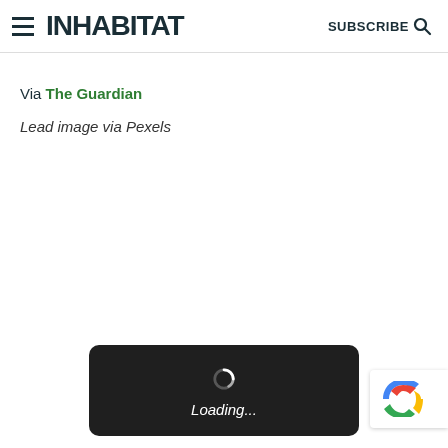INHABITAT  SUBSCRIBE
Via The Guardian
Lead image via Pexels
[Figure (other): Loading spinner overlay with dark background showing a spinning loader icon and 'Loading...' text in italic white font]
[Figure (other): Partial reCAPTCHA widget visible at bottom right edge of page]